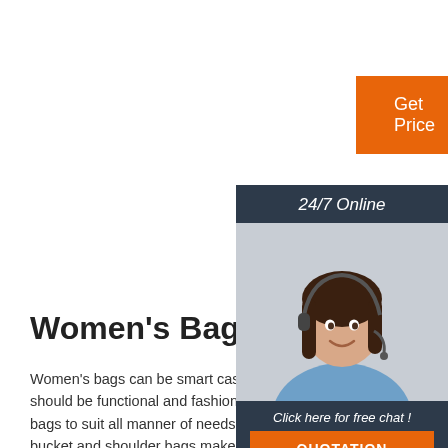[Figure (other): Orange 'Get Price' button]
[Figure (other): 24/7 Online customer service chat widget with photo of woman wearing headset, 'Click here for free chat!' text, and orange QUOTATION button]
Women's Bags
Women's bags can be smart casual, big or small, but always should be functional and fashionable.The collection features bags to suit all manner of needs and situations. Crossbody, bucket and shoulder bags make for easy everyday companions, whether used for work or running errands; rucksacks and backpacks are useful and supportive holdalls for belongings such as books and laptops as ...
[Figure (other): TOP badge logo with orange dots and orange text]